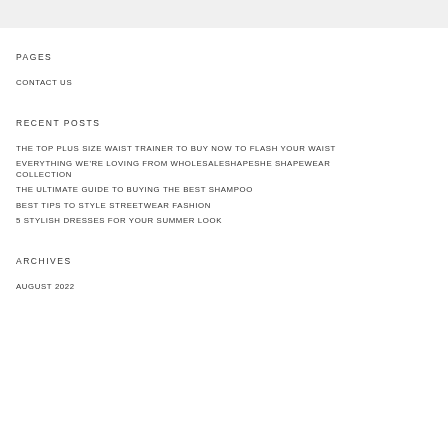PAGES
CONTACT US
RECENT POSTS
THE TOP PLUS SIZE WAIST TRAINER TO BUY NOW TO FLASH YOUR WAIST
EVERYTHING WE'RE LOVING FROM WHOLESALESHAPESHE SHAPEWEAR COLLECTION
THE ULTIMATE GUIDE TO BUYING THE BEST SHAMPOO
BEST TIPS TO STYLE STREETWEAR FASHION
5 STYLISH DRESSES FOR YOUR SUMMER LOOK
ARCHIVES
AUGUST 2022